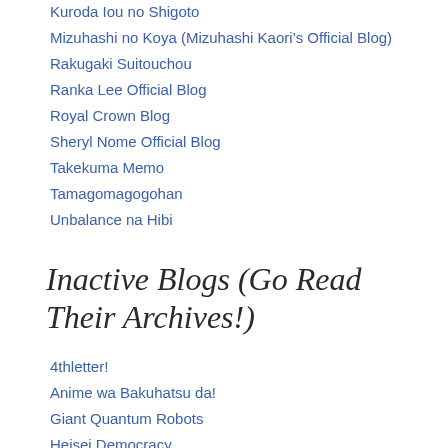Kuroda Iou no Shigoto
Mizuhashi no Koya (Mizuhashi Kaori's Official Blog)
Rakugaki Suitouchou
Ranka Lee Official Blog
Royal Crown Blog
Sheryl Nome Official Blog
Takekuma Memo
Tamagomagogohan
Unbalance na Hibi
Inactive Blogs (Go Read Their Archives!)
4thletter!
Anime wa Bakuhatsu da!
Giant Quantum Robots
Heisei Democracy